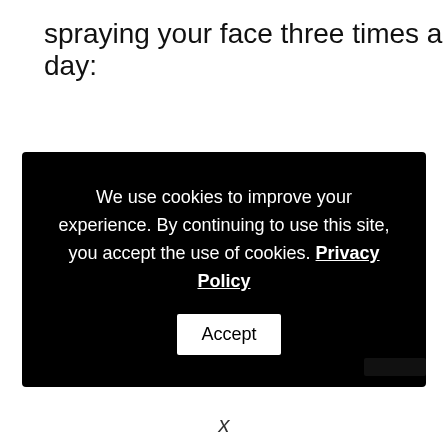spraying your face three times a day:
We use cookies to improve your experience. By continuing to use this site, you accept the use of cookies. Privacy Policy  Accept